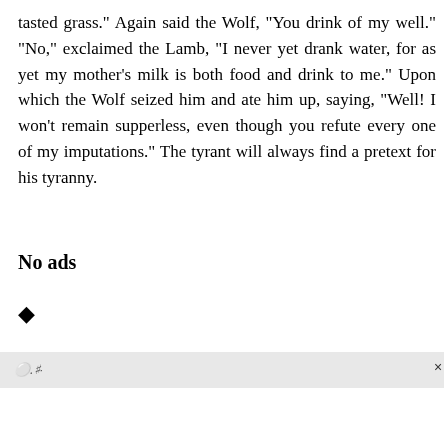tasted grass." Again said the Wolf, "You drink of my well." "No," exclaimed the Lamb, "I never yet drank water, for as yet my mother's milk is both food and drink to me." Upon which the Wolf seized him and ate him up, saying, "Well! I won't remain supperless, even though you refute every one of my imputations." The tyrant will always find a pretext for his tyranny.
No ads
[Figure (other): A diamond/rhombus shaped icon symbol]
♀.♂·
×